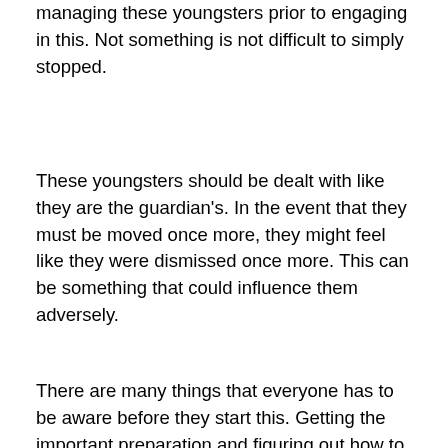managing these youngsters prior to engaging in this. Not something is not difficult to simply stopped.
These youngsters should be dealt with like they are the guardian's. In the event that they must be moved once more, they might feel like they were dismissed once more. This can be something that could influence them adversely.
There are many things that everyone has to be aware before they start this. Getting the important preparation and figuring out how to manage various circumstances as well as knowing the fundamental stages to take to get the help when somebody needs it will assist the involvement in being better for